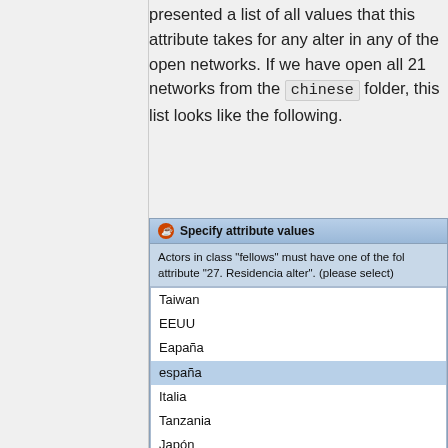presented a list of all values that this attribute takes for any alter in any of the open networks. If we have open all 21 networks from the chinese folder, this list looks like the following.
[Figure (screenshot): A Java dialog box titled 'Specify attribute values' showing a list of country/location values: Taiwan, EEUU, Eapaña, españa (highlighted), Italia, Tanzania, Japón, Suiza, Barcelona (highlighted), Estados Unidos, Taiwán, Suecia, Xina, EspanyaXina (partially visible). The dialog description reads: Actors in class 'fellows' must have one of the following values for attribute '27. Residencia alter'. (please select)]